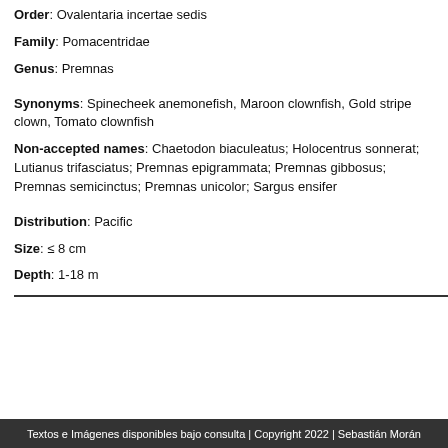Order: Ovalentaria incertae sedis
Family: Pomacentridae
Genus: Premnas
Synonyms: Spinecheek anemonefish, Maroon clownfish, Gold stripe clown, Tomato clownfish
Non-accepted names: Chaetodon biaculeatus; Holocentrus sonnerat; Lutianus trifasciatus; Premnas epigrammata; Premnas gibbosus; Premnas semicinctus; Premnas unicolor; Sargus ensifer
Distribution: Pacific
Size: ≤ 8 cm
Depth: 1-18 m
Textos e Imágenes disponibles bajo consulta | Copyright 2022 | Sebastián Morán